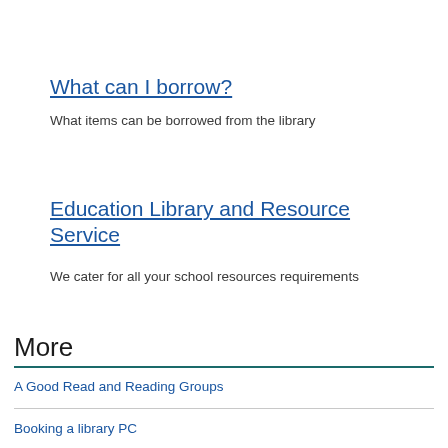What can I borrow?
What items can be borrowed from the library
Education Library and Resource Service
We cater for all your school resources requirements
More
A Good Read and Reading Groups
Booking a library PC